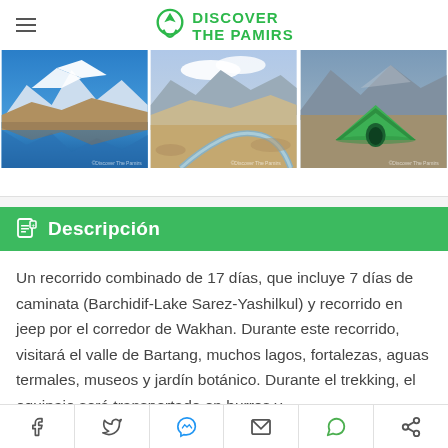Discover The Pamirs
[Figure (photo): Three travel/landscape photos showing mountain lakes with reflections, a valley with mountains and a river, and a green camping tent in a mountain valley]
Descripción
Un recorrido combinado de 17 días, que incluye 7 días de caminata (Barchidif-Lake Sarez-Yashilkul) y recorrido en jeep por el corredor de Wakhan. Durante este recorrido, visitará el valle de Bartang, muchos lagos, fortalezas, aguas termales, museos y jardín botánico. Durante el trekking, el equipaje será transportado en burros y
Facebook, Twitter, Messenger, Email, WhatsApp, Share